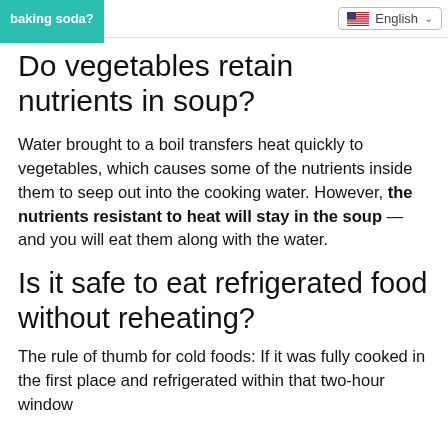baking soda?
Do vegetables retain nutrients in soup?
Water brought to a boil transfers heat quickly to vegetables, which causes some of the nutrients inside them to seep out into the cooking water. However, the nutrients resistant to heat will stay in the soup — and you will eat them along with the water.
Is it safe to eat refrigerated food without reheating?
The rule of thumb for cold foods: If it was fully cooked in the first place and refrigerated within that two-hour window